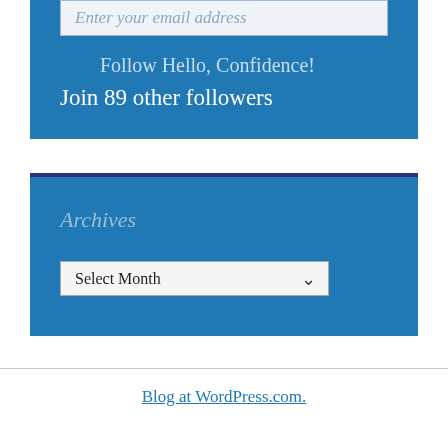Enter your email address
Follow Hello, Confidence!
Join 89 other followers
Archives
Select Month
Blog at WordPress.com.